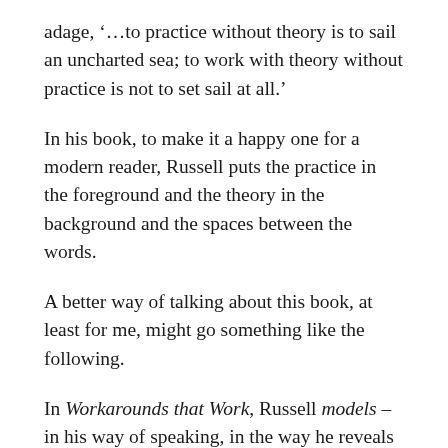adage, '…to practice without theory is to sail an uncharted sea; to work with theory without practice is not to set sail at all.'
In his book, to make it a happy one for a modern reader, Russell puts the practice in the foreground and the theory in the background and the spaces between the words.
A better way of talking about this book, at least for me, might go something like the following.
In Workarounds that Work, Russell models – in his way of speaking, in the way he reveals himself, in the examples he brings, and in his recommendations – a